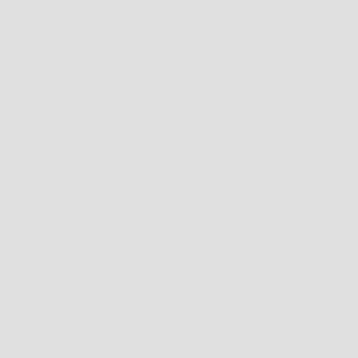international Rep...
Buffalo Cleaning...
Buffalo Cleaning Ser... Squared Facility Solu... Cleaning Service ran... we offer a wide array... companies in all indu... Office Cleaning, Wino... & Waxing, Carpet Clea... Car Dealership Clea... and Medical Office C... of services as well. B... Franchisee with Pro S... are a Buffalo Cleanin... Services and we offe... types of companies i... Detailed Office Clean... Stripping & Waxing, C... Cleaning, Car Dealer... Exhaust Cleaning ana... well as other types of...
Buffalo NY Repo...
extraSlice, The P...
extraSlice is a cowor... startups. An innovativ... entrepreneurs, extraS... space, shared desks,... training and conferen...